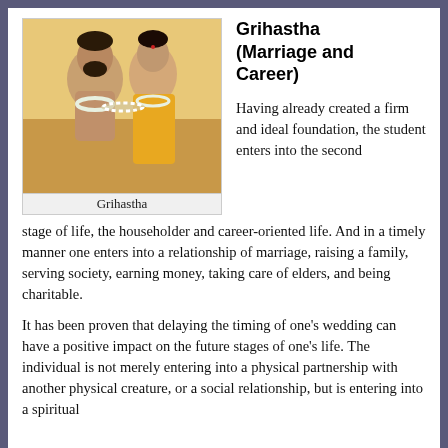[Figure (illustration): Traditional Indian illustration of a couple in a wedding scene, a man and woman exchanging garlands, with the caption 'Grihastha' below.]
Grihastha
Grihastha (Marriage and Career)
Having already created a firm and ideal foundation, the student enters into the second stage of life, the householder and career-oriented life. And in a timely manner one enters into a relationship of marriage, raising a family, serving society, earning money, taking care of elders, and being charitable.
It has been proven that delaying the timing of one’s wedding can have a positive impact on the future stages of one’s life. The individual is not merely entering into a physical partnership with another physical creature, or a social relationship, but is entering into a spiritual